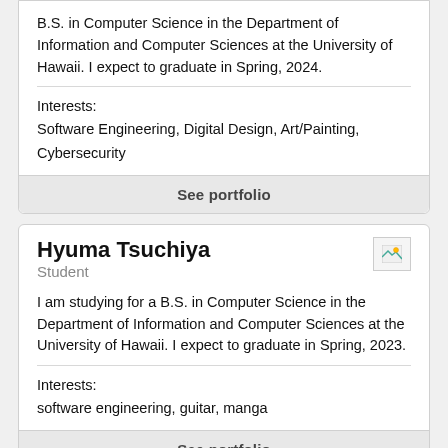B.S. in Computer Science in the Department of Information and Computer Sciences at the University of Hawaii. I expect to graduate in Spring, 2024.
Interests:
Software Engineering, Digital Design, Art/Painting, Cybersecurity
See portfolio
Hyuma Tsuchiya
Student
I am studying for a B.S. in Computer Science in the Department of Information and Computer Sciences at the University of Hawaii. I expect to graduate in Spring, 2023.
Interests:
software engineering, guitar, manga
See portfolio